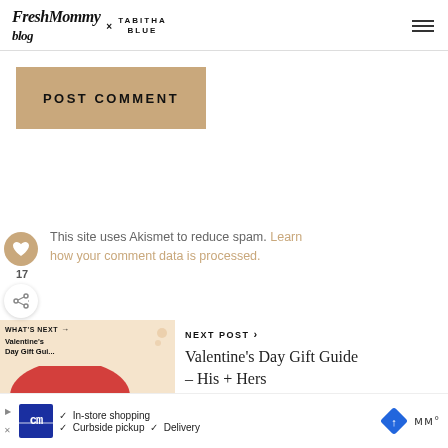Fresh Mommy Blog x TABITHA BLUE
POST COMMENT
This site uses Akismet to reduce spam. Learn how your comment data is processed.
NEXT POST > Valentine's Day Gift Guide – His + Hers
[Figure (screenshot): Ad banner: CM logo, In-store shopping, Curbside pickup, Delivery, navigation icon, temperature icon]
17
WHAT'S NEXT → Valentine's Day Gift Gui...